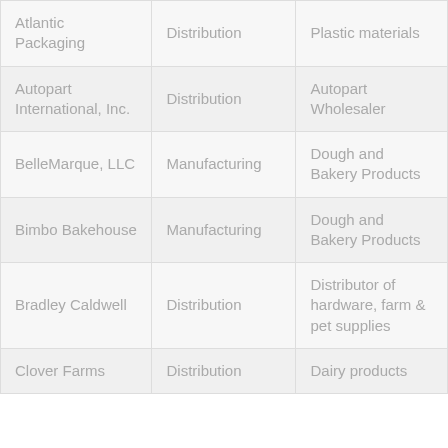| Atlantic Packaging | Distribution | Plastic materials |
| Autopart International, Inc. | Distribution | Autopart Wholesaler |
| BelleMarque, LLC | Manufacturing | Dough and Bakery Products |
| Bimbo Bakehouse | Manufacturing | Dough and Bakery Products |
| Bradley Caldwell | Distribution | Distributor of hardware, farm & pet supplies |
| Clover Farms | Distribution | Dairy products |